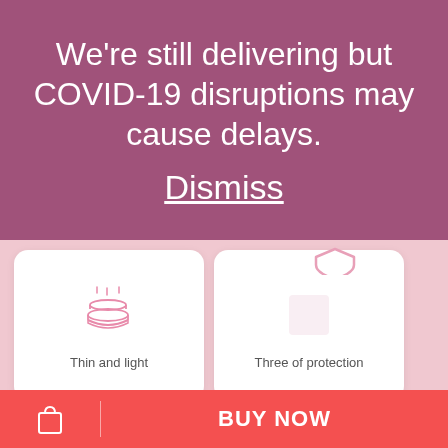We're still delivering but COVID-19 disruptions may cause delays.
Dismiss
[Figure (illustration): Icon of layered sheets with steam lines above, representing thin and light material]
Thin and light
[Figure (illustration): Partial shield icon at top of second card]
Three of protection
BUY NOW